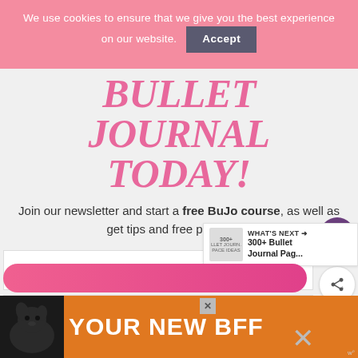We use cookies to ensure that we give you the best experience on our website. Accept
BULLET JOURNAL TODAY!
Join our newsletter and start a free BuJo course, as well as get tips and free printables.
First name
Email address
88.5K
WHAT'S NEXT → 300+ Bullet Journal Pag...
[Figure (screenshot): Orange advertisement banner with dog image and text YOUR NEW BFF]
YOUR NEW BFF